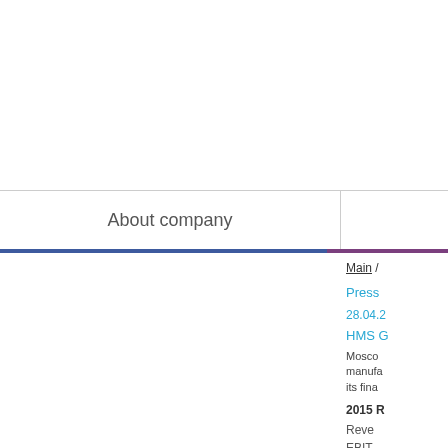About company
Main /
Press
28.04.2
HMS G
Moscow manufa its fina
2015 R
Reve
EBIT
EBIT